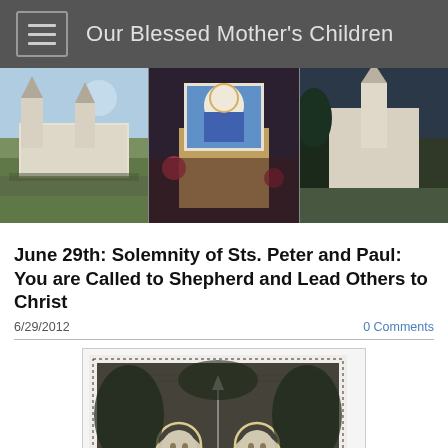Our Blessed Mother's Children
[Figure (photo): Banner with three panels: left shows aerial view of a church complex with twin spires and crowd, center shows a person holding a portrait of the Virgin Mary with flowers, right shows a church with a single tower against a dark sky]
June 29th: Solemnity of Sts. Peter and Paul: You are Called to Shepherd and Lead Others to Christ
6/29/2012
0 Comments
[Figure (illustration): Black and white engraving-style illustration of Saints Peter and Paul with halos, framed with a dotted border, surrounded by foliage]